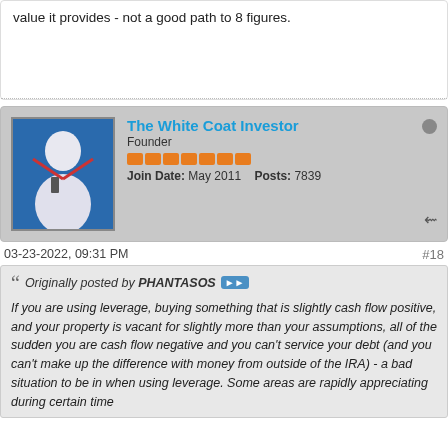value it provides - not a good path to 8 figures.
The White Coat Investor
Founder
Join Date: May 2011   Posts: 7839
03-23-2022, 09:31 PM
#18
Originally posted by PHANTASOS
If you are using leverage, buying something that is slightly cash flow positive, and your property is vacant for slightly more than your assumptions, all of the sudden you are cash flow negative and you can't service your debt (and you can't make up the difference with money from outside of the IRA) - a bad situation to be in when using leverage. Some areas are rapidly appreciating during certain time